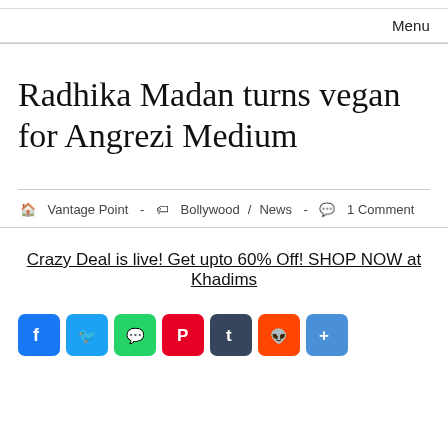Menu
Radhika Madan turns vegan for Angrezi Medium
🏠 Vantage Point  -  🏷 Bollywood / News  -  🗨 1 Comment
Crazy Deal is live! Get upto 60% Off! SHOP NOW at Khadims
[Figure (other): Social media share buttons: Facebook, Twitter, WhatsApp, Pinterest, Tumblr, Reddit, Share]